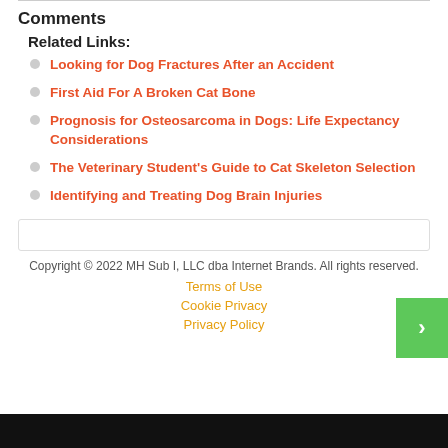Comments
Related Links:
Looking for Dog Fractures After an Accident
First Aid For A Broken Cat Bone
Prognosis for Osteosarcoma in Dogs: Life Expectancy Considerations
The Veterinary Student's Guide to Cat Skeleton Selection
Identifying and Treating Dog Brain Injuries
Copyright © 2022 MH Sub I, LLC dba Internet Brands. All rights reserved.
Terms of Use
Cookie Privacy
Privacy Policy